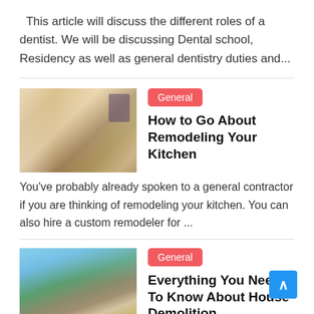This article will discuss the different roles of a dentist. We will be discussing Dental school, Residency as well as general dentistry duties and...
[Figure (photo): Kitchen interior with white cabinets, countertop, and window with blinds]
General
How to Go About Remodeling Your Kitchen
You've probably already spoken to a general contractor if you are thinking of remodeling your kitchen. You can also hire a custom remodeler for ...
[Figure (photo): House demolition scene with excavator and rubble]
General
Everything You Need To Know About House Demolition